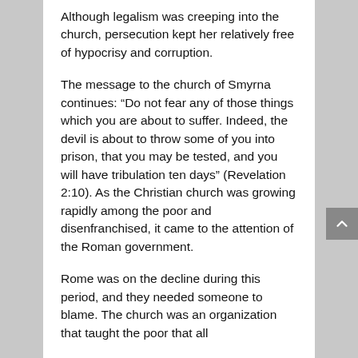Although legalism was creeping into the church, persecution kept her relatively free of hypocrisy and corruption.
The message to the church of Smyrna continues: “Do not fear any of those things which you are about to suffer. Indeed, the devil is about to throw some of you into prison, that you may be tested, and you will have tribulation ten days” (Revelation 2:10). As the Christian church was growing rapidly among the poor and disenfranchised, it came to the attention of the Roman government.
Rome was on the decline during this period, and they needed someone to blame. The church was an organization that taught the poor that all